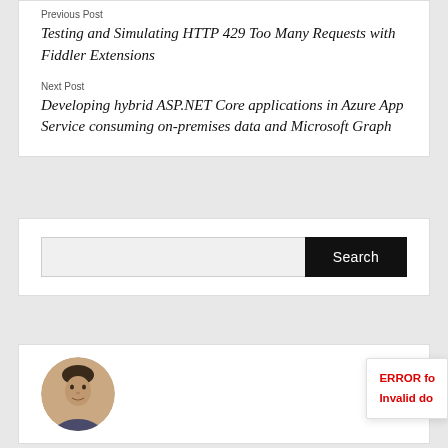Previous Post
Testing and Simulating HTTP 429 Too Many Requests with Fiddler Extensions
Next Post
Developing hybrid ASP.NET Core applications in Azure App Service consuming on-premises data and Microsoft Graph
Search
[Figure (photo): Circular profile photo of a man]
ERROR fo
Invalid do